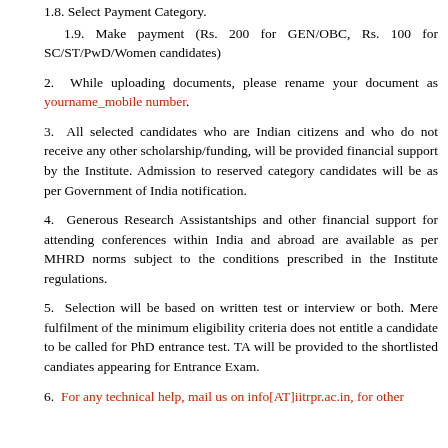1.8. Select Payment Category.
1.9. Make payment (Rs. 200 for GEN/OBC, Rs. 100 for SC/ST/PwD/Women candidates)
2. While uploading documents, please rename your document as yourname_mobile number.
3. All selected candidates who are Indian citizens and who do not receive any other scholarship/funding, will be provided financial support by the Institute. Admission to reserved category candidates will be as per Government of India notification.
4. Generous Research Assistantships and other financial support for attending conferences within India and abroad are available as per MHRD norms subject to the conditions prescribed in the Institute regulations.
5. Selection will be based on written test or interview or both. Mere fulfilment of the minimum eligibility criteria does not entitle a candidate to be called for PhD entrance test. TA will be provided to the shortlisted candiates appearing for Entrance Exam.
6. For any technical help, mail us on info[AT]iitrpr.ac.in, for other